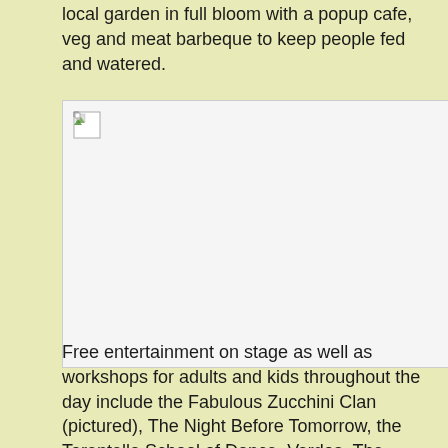local garden in full bloom with a popup cafe, veg and meat barbeque to keep people fed and watered.
[Figure (photo): A broken/missing image placeholder showing a damaged image icon in the top-left corner of a white rectangular box with a light border.]
Free entertainment on stage as well as workshops for adults and kids throughout the day include the Fabulous Zucchini Clan (pictured), The Night Before Tomorrow, the Tarentella School of Dance, Vardos, The Black Harrys and local Coburg choirs.
Free workshops on Growing Summer Bumper Crops by Diana Cotter; Unusual Edibles by Chris Williams, Zero Waste Challenge by Tammy Sherer, Successful worm farming by Worm Lovers - Richard Thomas and the science of composting with Matthew Daniel.
Visitors will have the chance to explore the community nursery and buy affordable plants and spring vegie